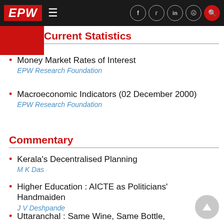EPW — navigation bar with hamburger menu and social icons (Facebook, Twitter, LinkedIn, Instagram, Search)
Current Statistics
Money Market Rates of Interest
EPW Research Foundation
Macroeconomic Indicators (02 December 2000)
EPW Research Foundation
Commentary
Kerala's Decentralised Planning
M K Das
Higher Education : AICTE as Politicians' Handmaiden
J V Deshpande
Uttaranchal : Same Wine, Same Bottle, New Label?